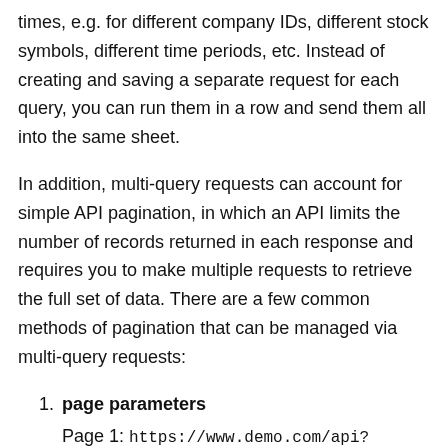times, e.g. for different company IDs, different stock symbols, different time periods, etc. Instead of creating and saving a separate request for each query, you can run them in a row and send them all into the same sheet.
In addition, multi-query requests can account for simple API pagination, in which an API limits the number of records returned in each response and requires you to make multiple requests to retrieve the full set of data. There are a few common methods of pagination that can be managed via multi-query requests:
page parameters
Page 1: https://www.demo.com/api?page=1